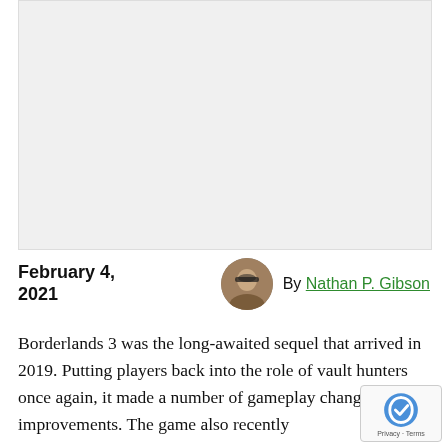[Figure (photo): Light gray image placeholder area at the top of the article page]
February 4, 2021
[Figure (photo): Circular avatar photo of Nathan P. Gibson, a man wearing sunglasses outdoors]
By Nathan P. Gibson
Borderlands 3 was the long-awaited sequel that arrived in 2019. Putting players back into the role of vault hunters once again, it made a number of gameplay changes and improvements. The game also recently